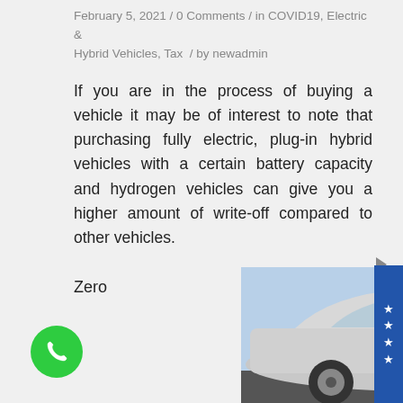February 5, 2021 / 0 Comments / in COVID19, Electric & Hybrid Vehicles, Tax / by newadmin
If you are in the process of buying a vehicle it may be of interest to note that purchasing fully electric, plug-in hybrid vehicles with a certain battery capacity and hydrogen vehicles can give you a higher amount of write-off compared to other vehicles.
Zero
[Figure (photo): Side view of a silver car with 'Zero Emission Electric Vehicle' text and green leaf logo on the car door]
[Figure (other): Green circular phone/call button icon]